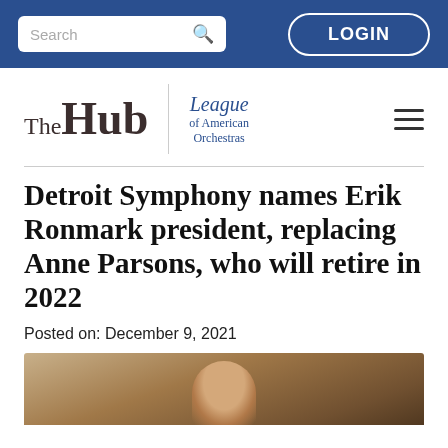Search | LOGIN
[Figure (logo): TheHub | League of American Orchestras logo with hamburger menu]
Detroit Symphony names Erik Ronmark president, replacing Anne Parsons, who will retire in 2022
Posted on: December 9, 2021
[Figure (photo): Photograph of a man, presumably Erik Ronmark, in an indoor setting]